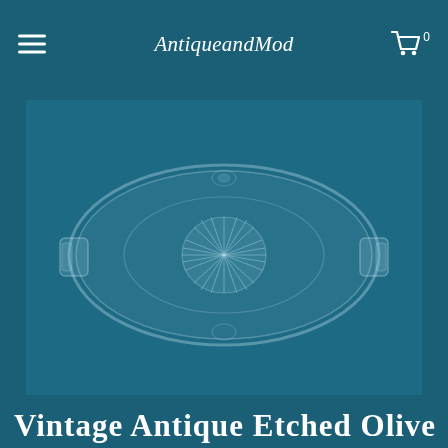AntiqueandMod
[Figure (photo): Vintage antique etched glass olive dish with two side handles and a decorative starburst/sunburst pattern in the center, photographed against a teal-blue background]
Vintage Antique Etched Olive